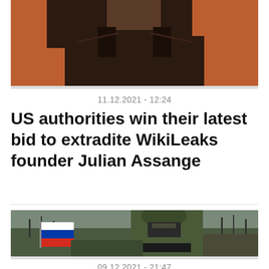[Figure (photo): Top portion of a person wearing a dark brown leather jacket, arm raised, in front of a brick wall background. Image is cropped at the top.]
11.12.2021 - 12:24
US authorities win their latest bid to extradite WikiLeaks founder Julian Assange
[Figure (photo): A soldier in full camouflage gear and face mask, wearing a helmet with foliage, holding a weapon. A Russian flag is visible on the left side. Background shows bare trees and hills.]
09.12.2021 - 21:47